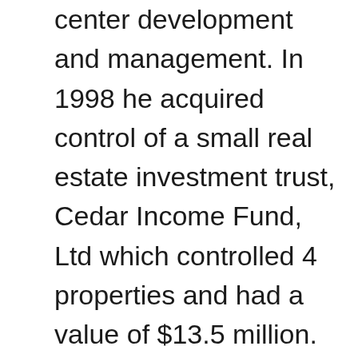center development and management. In 1998 he acquired control of a small real estate investment trust, Cedar Income Fund, Ltd which controlled 4 properties and had a value of $13.5 million. He reincorporated under the name Cedar Shopping Centers, Inc and started growing the company with primarily supermarket-anchored “bread and butter” strip shopping centers in mid-